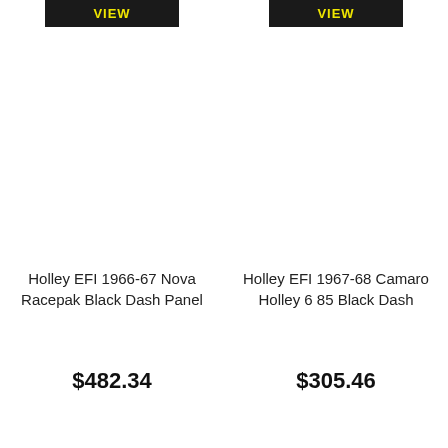[Figure (other): Black VIEW button with yellow text, left product]
Holley EFI 1966-67 Nova Racepak Black Dash Panel
$482.34
[Figure (other): Black VIEW button with yellow text, right product]
Holley EFI 1967-68 Camaro Holley 6 85 Black Dash
$305.46